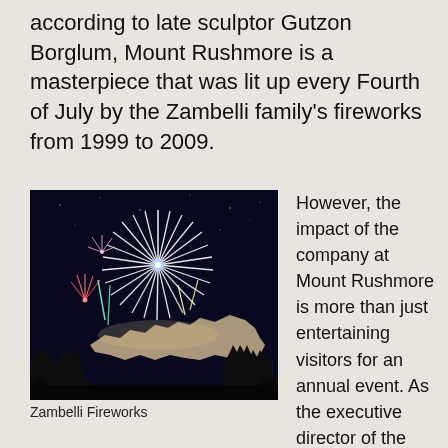according to late sculptor Gutzon Borglum, Mount Rushmore is a masterpiece that was lit up every Fourth of July by the Zambelli family's fireworks from 1999 to 2009.
[Figure (photo): Fireworks display over Mount Rushmore at night, with silhouetted trees in the foreground and the illuminated carved faces visible in the background.]
Zambelli Fireworks
However, the impact of the company at Mount Rushmore is more than just entertaining visitors for an annual event. As the executive director of the Mount Rushmore Society, Diana